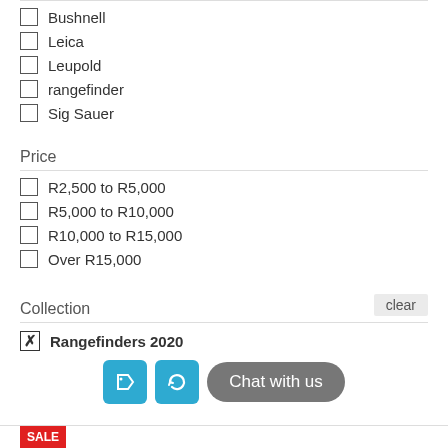Bushnell
Leica
Leupold
rangefinder
Sig Sauer
Price
R2,500 to R5,000
R5,000 to R10,000
R10,000 to R15,000
Over R15,000
Collection
Rangefinders 2020
Chat with us
SALE